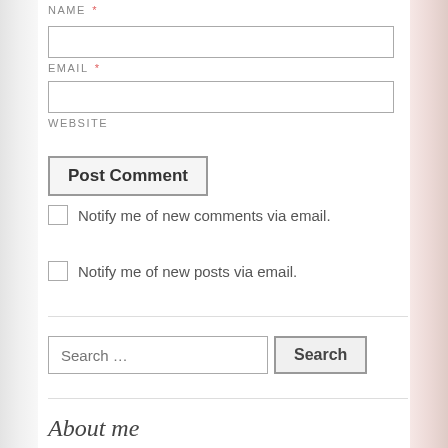NAME *
EMAIL *
WEBSITE
Post Comment
Notify me of new comments via email.
Notify me of new posts via email.
Search …
About me